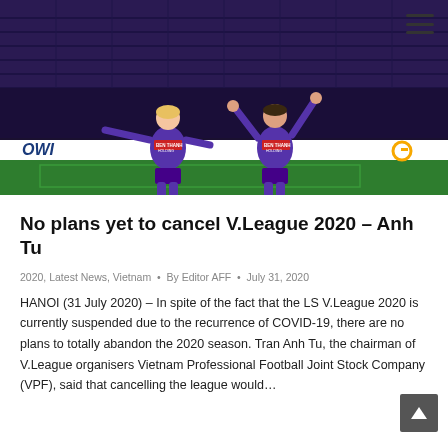[Figure (photo): Two football players in purple Ben Thanh Holdings jerseys celebrating on the pitch, with stadium stands in the background and advertising boards showing 'OWI' and a G logo]
No plans yet to cancel V.League 2020 – Anh Tu
2020, Latest News, Vietnam • By Editor AFF • July 31, 2020
HANOI (31 July 2020) – In spite of the fact that the LS V.League 2020 is currently suspended due to the recurrence of COVID-19, there are no plans to totally abandon the 2020 season. Tran Anh Tu, the chairman of V.League organisers Vietnam Professional Football Joint Stock Company (VPF), said that cancelling the league would…